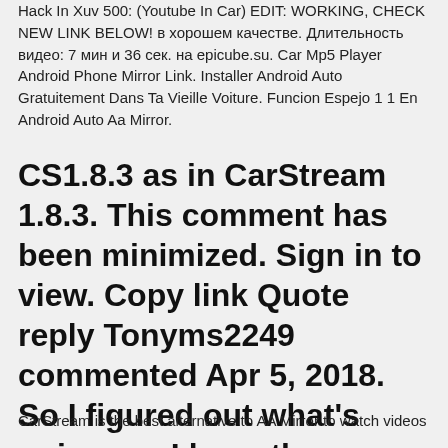Hack In Xuv 500: (Youtube In Car) EDIT: WORKING, CHECK NEW LINK BELOW! в хорошем качестве. Длительность видео: 7 мин и 36 сек. на epicube.su. Car Mp5 Player Android Phone Mirror Link. Installer Android Auto Gratuitement Dans Ta Vieille Voiture. Funcion Espejo 1 1 En Android Auto Aa Mirror.
CS1.8.3 as in CarStream 1.8.3. This comment has been minimized. Sign in to view. Copy link Quote reply Tonyms2249 commented Apr 5, 2018. So I figured out what's going on. I have the
CarStream is the best alternative to AA Mirror to watch videos